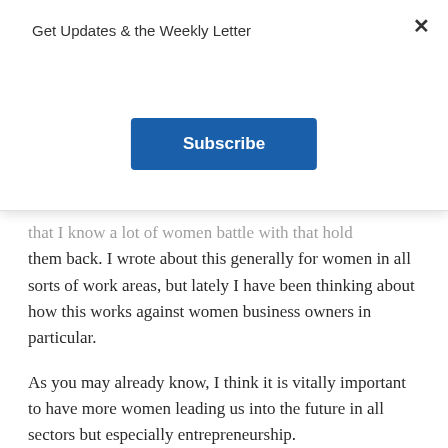Get Updates & the Weekly Letter
[Figure (screenshot): Blue Subscribe button in a modal popup]
that I know a lot of women battle with that hold them back. I wrote about this generally for women in all sorts of work areas, but lately I have been thinking about how this works against women business owners in particular.
As you may already know, I think it is vitally important to have more women leading us into the future in all sectors but especially entrepreneurship.
And yet is seems like there are so many obstacles, like entrepreneurship is a special challenge for the